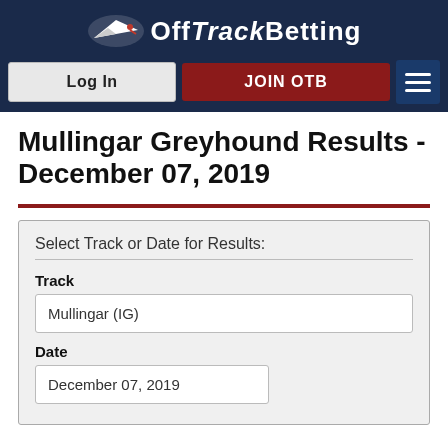[Figure (logo): OffTrackBetting logo with stylized bird and text on dark navy background]
Log In | JOIN OTB
Mullingar Greyhound Results - December 07, 2019
Select Track or Date for Results:
Track
Mullingar (IG)
Date
December 07, 2019